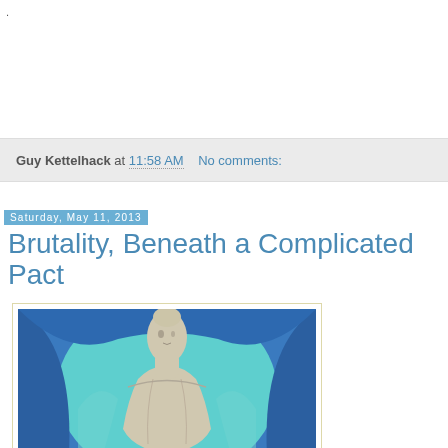.
Guy Kettelhack at 11:58 AM   No comments:
Saturday, May 11, 2013
Brutality, Beneath a Complicated Pact
[Figure (illustration): Painting/illustration of an elongated pale figure with head tilted, set against a teal/aqua and deep blue background, with a yellow shape at the bottom.]